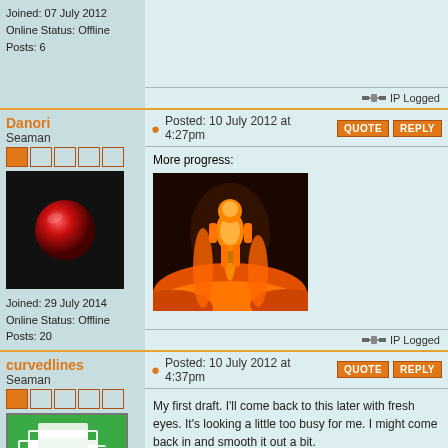Joined: 07 July 2012
Online Status: Offline
Posts: 6
IP Logged
Danori
Seaman
Joined: 29 July 2014
Online Status: Offline
Posts: 20
Posted: 10 July 2012 at 4:27pm
More progress:
[Figure (photo): Orange glowing 3D robotic figure standing on a lava-like surface]
IP Logged
curvedlines
Seaman
Posted: 10 July 2012 at 4:37pm
My first draft. I'll come back to this later with fresh eyes. It's looking a little too busy for me. I might come back in and smooth it out a bit.